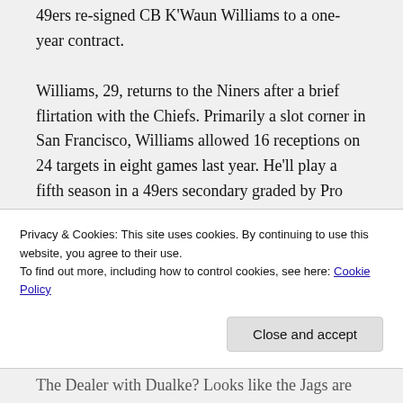49ers re-signed CB K'Waun Williams to a one-year contract. Williams, 29, returns to the Niners after a brief flirtation with the Chiefs. Primarily a slot corner in San Francisco, Williams allowed 16 receptions on 24 targets in eight games last year. He'll play a fifth season in a 49ers secondary graded by Pro Football Focus as the NFL's third best coverage unit in 2020
Privacy & Cookies: This site uses cookies. By continuing to use this website, you agree to their use. To find out more, including how to control cookies, see here: Cookie Policy
Close and accept
The Dealer with Dualke? Looks like the Jags are